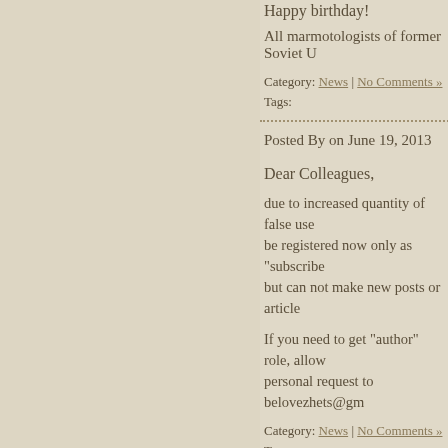Happy birthday!
All marmotologists of former Soviet U
Category: News | No Comments »
Tags:
Posted By on June 19, 2013
Dear Colleagues,
due to increased quantity of false use be registered now only as "subscribe but can not make new posts or article
If you need to get “author” role, allow personal request to belovezhets@gm
Category: News | No Comments »
Tags: